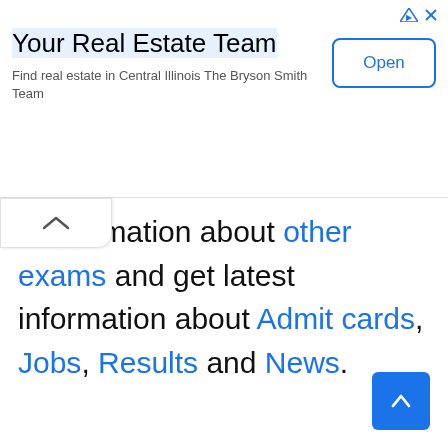[Figure (other): Advertisement banner for 'Your Real Estate Team' with title, description text, Open button, and ad icons in the top-right corner.]
n information about other exams and get latest information about Admit cards, Jobs, Results and News.